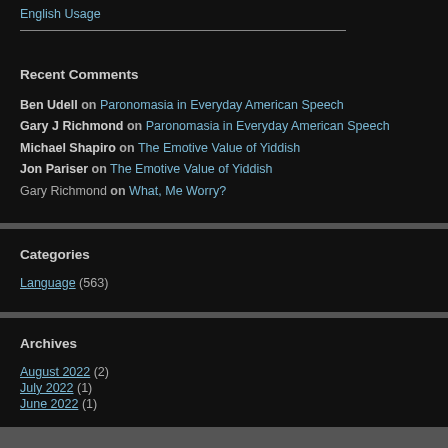English Usage
Recent Comments
Ben Udell on Paronomasia in Everyday American Speech
Gary J Richmond on Paronomasia in Everyday American Speech
Michael Shapiro on The Emotive Value of Yiddish
Jon Pariser on The Emotive Value of Yiddish
Gary Richmond on What, Me Worry?
Categories
Language (563)
Archives
August 2022 (2)
July 2022 (1)
June 2022 (1)